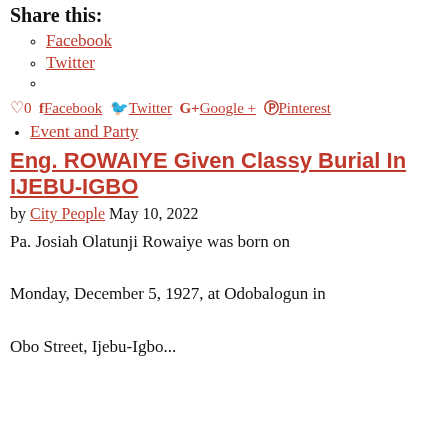Share this:
Facebook
Twitter
♡0  Facebook  Twitter  G+ Google +  Pinterest
Event and Party
Eng. ROWAIYE Given Classy Burial In IJEBU-IGBO
by City People May 10, 2022
Pa. Josiah Olatunji Rowaiye was born on Monday, December 5, 1927, at Odobalogun in Obo Street, Ijebu-Igbo...